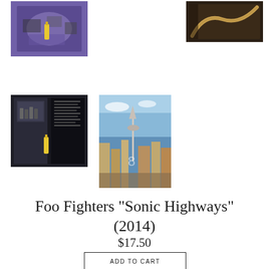[Figure (photo): Product thumbnail photo showing Foo Fighters Sonic Highways album cover art - top left]
[Figure (photo): Product thumbnail photo showing a dark guitar strap or accessory - top right]
[Figure (photo): Product thumbnail photo showing album interior booklet with band photos - mid left]
[Figure (photo): Product thumbnail photo showing Sonic Highways album cover with Seattle skyline - mid center]
Foo Fighters "Sonic Highways" (2014)
$17.50
ADD TO CART